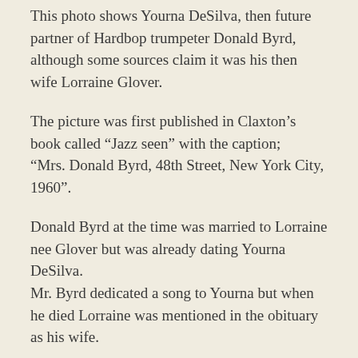This photo shows Yourna DeSilva, then future partner of Hardbop trumpeter Donald Byrd, although some sources claim it was his then wife Lorraine Glover.
The picture was first published in Claxton’s book called “Jazz seen” with the caption; “Mrs. Donald Byrd, 48th Street, New York City, 1960”.
Donald Byrd at the time was married to Lorraine nee Glover but was already dating Yourna DeSilva. Mr. Byrd dedicated a song to Yourna but when he died Lorraine was mentioned in the obituary as his wife.
R...